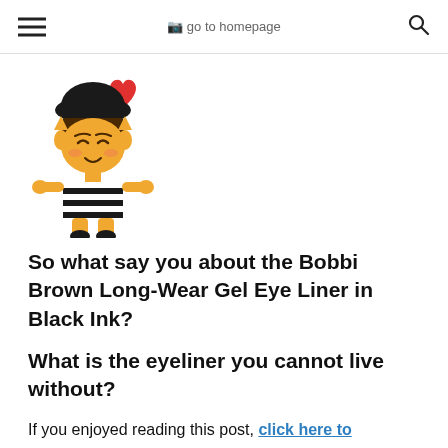go to homepage
[Figure (illustration): Cartoon mascot character: a small pixie/elf with dark bob haircut wearing a black beret and black-and-white striped outfit, holding a red heart, with yellow/golden skin tone, winking expression]
So what say you about the Bobbi Brown Long-Wear Gel Eye Liner in Black Ink?
What is the eyeliner you cannot live without?
If you enjoyed reading this post, click here to subscribe for more posts by RSS